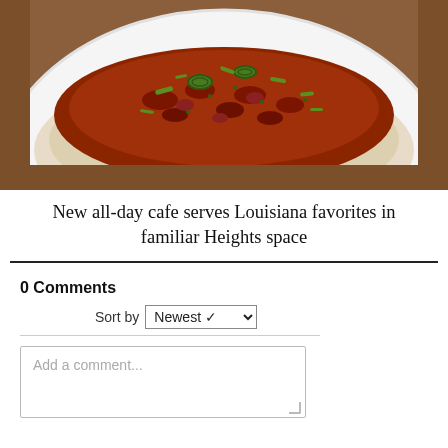[Figure (photo): A plate of rice topped with a rich red-brown Louisiana-style sauce (red beans and sausage gravy) garnished with sliced green onions, served on a white plate.]
New all-day cafe serves Louisiana favorites in familiar Heights space
0 Comments
Sort by Newest
Add a comment...